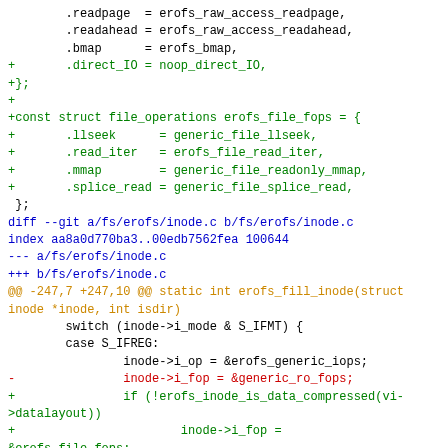Code diff showing changes to erofs filesystem files: data_io.c and inode.c. Includes additions of erofs_file_fops struct and modifications to erofs_fill_inode function.